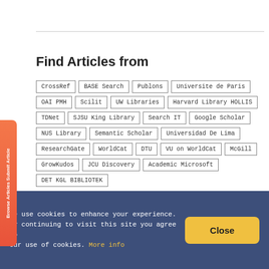Find Articles from
CrossRef
BASE Search
Publons
Universite de Paris
OAI PMH
Scilit
UW Libraries
Harvard Library HOLLIS
TDNet
SJSU King Library
Search IT
Google Scholar
NUS Library
Semantic Scholar
Universidad De Lima
ResearchGate
WorldCat
DTU
VU on WorldCat
McGill
GrowKudos
JCU Discovery
Academic Microsoft
DET KGL BIBLIOTEK
Ensuring authors' satisfaction
We use cookies to enhance your experience. By continuing to visit this site you agree to our use of cookies. More info